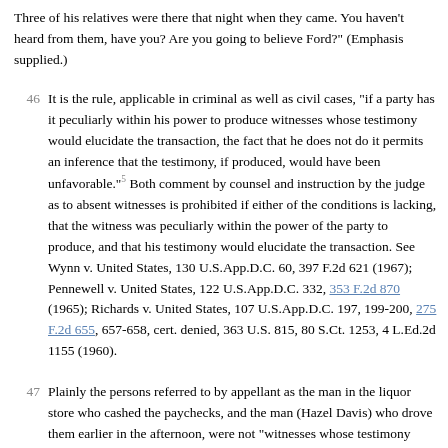Three of his relatives were there that night when they came. You haven't heard from them, have you? Are you going to believe Ford?" (Emphasis supplied.)
46   It is the rule, applicable in criminal as well as civil cases, "if a party has it peculiarly within his power to produce witnesses whose testimony would elucidate the transaction, the fact that he does not do it permits an inference that the testimony, if produced, would have been unfavorable."5 Both comment by counsel and instruction by the judge as to absent witnesses is prohibited if either of the conditions is lacking, that the witness was peculiarly within the power of the party to produce, and that his testimony would elucidate the transaction. See Wynn v. United States, 130 U.S.App.D.C. 60, 397 F.2d 621 (1967); Pennewell v. United States, 122 U.S.App.D.C. 332, 353 F.2d 870 (1965); Richards v. United States, 107 U.S.App.D.C. 197, 199-200, 275 F.2d 655, 657-658, cert. denied, 363 U.S. 815, 80 S.Ct. 1253, 4 L.Ed.2d 1155 (1960).
47   Plainly the persons referred to by appellant as the man in the liquor store who cashed the paychecks, and the man (Hazel Davis) who drove them earlier in the afternoon, were not "witnesses whose testimony would elucidate the transaction" within the meaning of the